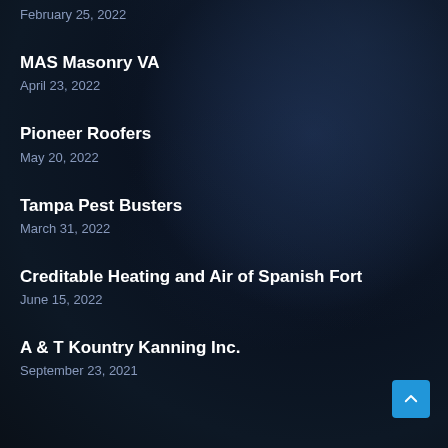February 25, 2022
MAS Masonry VA
April 23, 2022
Pioneer Roofers
May 20, 2022
Tampa Pest Busters
March 31, 2022
Creditable Heating and Air of Spanish Fort
June 15, 2022
A & T Kountry Kanning Inc.
September 23, 2021